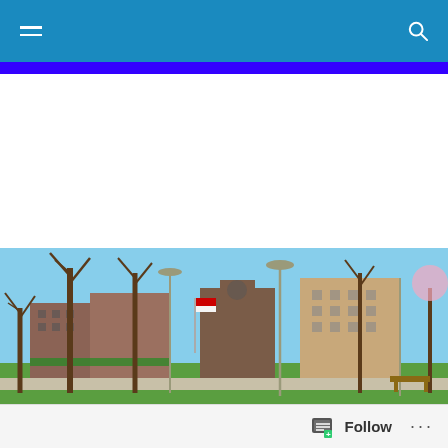Navigation bar with hamburger menu and search icon
[Figure (photo): Town square / downtown area with brick buildings, green lawn, bare trees, and street lamps on a clear day]
DAILY ARCHIVES: NOVEMBER 5, 2015
'Moving Stories' At
Follow